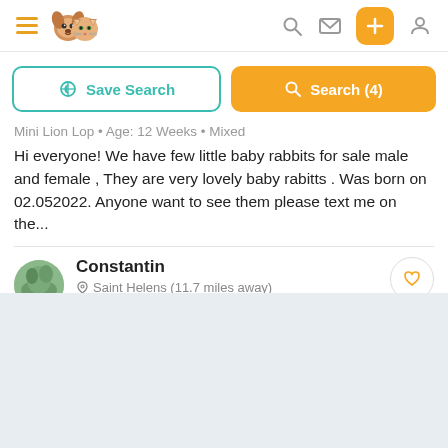[Figure (screenshot): App header with hamburger menu, dog-cat logo, search icon, message icon, orange plus button, and profile icon]
[Figure (screenshot): Save Search button (teal outline) and Search (4) button (orange) side by side]
Mini Lion Lop • Age: 12 Weeks • Mixed
Hi everyone! We have few little baby rabbits for sale male and female , They are very lovely baby rabitts . Was born on 02.052022. Anyone want to see them please text me on the...
Constantin
Saint Helens (11.7 miles away)
RESCUE/CHARITY